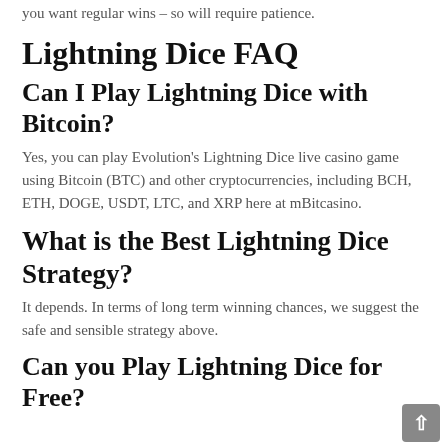you want regular wins – so will require patience.
Lightning Dice FAQ
Can I Play Lightning Dice with Bitcoin?
Yes, you can play Evolution's Lightning Dice live casino game using Bitcoin (BTC) and other cryptocurrencies, including BCH, ETH, DOGE, USDT, LTC, and XRP here at mBitcasino.
What is the Best Lightning Dice Strategy?
It depends. In terms of long term winning chances, we suggest the safe and sensible strategy above.
Can you Play Lightning Dice for Free?